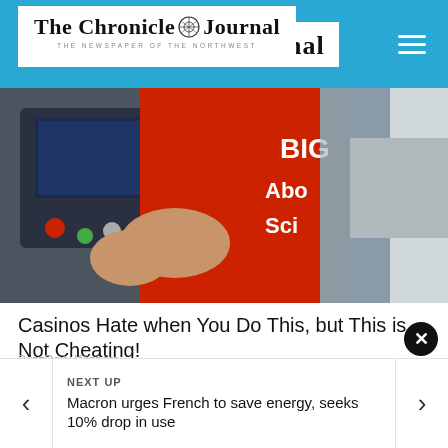The Chronicle Journal — THE NEWSPAPER OF THE NORTHWEST
[Figure (photo): Person in red t-shirt at a casino slot machine, shirt reads 'BIG About Sci...']
Casinos Hate when You Do This, but This is Not Cheating!
BuzzDaily Winners
[Figure (photo): Close-up of a person wearing white pants and white perforated slip-on shoes with tan/brown detailing, on a pavement surface]
NEXT UP
Macron urges French to save energy, seeks 10% drop in use